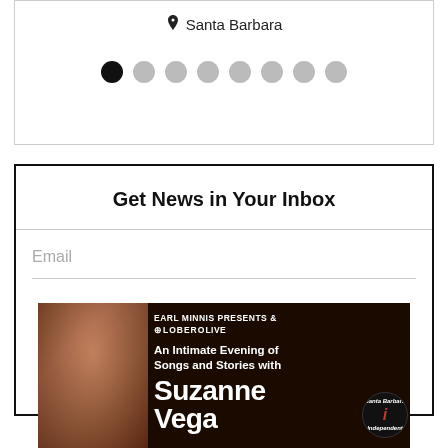Santa Barbara
[Figure (infographic): Pagination dots row: one black dot followed by seven grey dots]
Get News in Your Inbox
Email
Sign Up
[Figure (infographic): Advertisement: Earl Minnis Presents & Lobero Live. An Intimate Evening of Songs and Stories with Suzanne Vega. Features a portrait of a woman with red hair and red lips against a dark background, with a circular Independent magazine badge.]